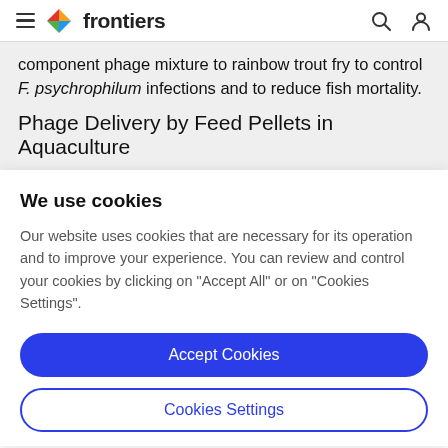frontiers
component phage mixture to rainbow trout fry to control F. psychrophilum infections and to reduce fish mortality.
Phage Delivery by Feed Pellets in Aquaculture
We use cookies
Our website uses cookies that are necessary for its operation and to improve your experience. You can review and control your cookies by clicking on "Accept All" or on "Cookies Settings".
Accept Cookies
Cookies Settings